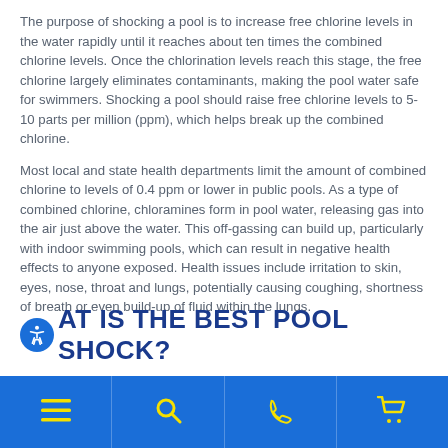The purpose of shocking a pool is to increase free chlorine levels in the water rapidly until it reaches about ten times the combined chlorine levels. Once the chlorination levels reach this stage, the free chlorine largely eliminates contaminants, making the pool water safe for swimmers. Shocking a pool should raise free chlorine levels to 5-10 parts per million (ppm), which helps break up the combined chlorine.
Most local and state health departments limit the amount of combined chlorine to levels of 0.4 ppm or lower in public pools. As a type of combined chlorine, chloramines form in pool water, releasing gas into the air just above the water. This off-gassing can build up, particularly with indoor swimming pools, which can result in negative health effects to anyone exposed. Health issues include irritation to skin, eyes, nose, throat and lungs, potentially causing coughing, shortness of breath or even build-up of fluid within the lungs.
WHAT IS THE BEST POOL SHOCK?
[Figure (other): Blue bottom navigation bar with four icon sections: hamburger menu, search, phone, and shopping cart icons in yellow on blue background.]